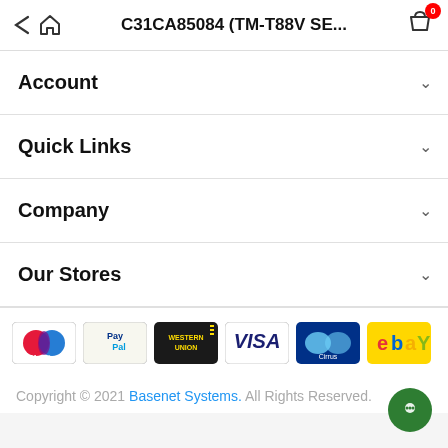C31CA85084 (TM-T88V SE...
Account
Quick Links
Company
Our Stores
[Figure (logo): Payment method logos: Maestro, PayPal, Western Union, Visa, Cirrus, eBay]
Copyright © 2021 Basenet Systems. All Rights Reserved.